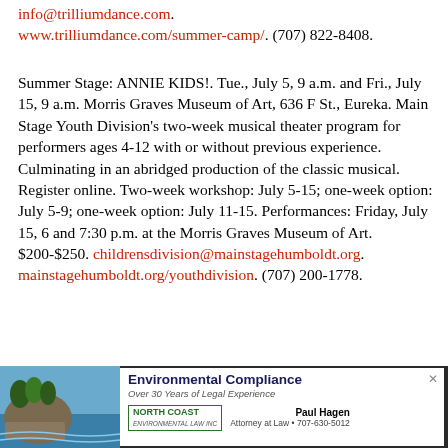info@trilliumdance.com. www.trilliumdance.com/summer-camp/. (707) 822-8408.
Summer Stage: ANNIE KIDS!. Tue., July 5, 9 a.m. and Fri., July 15, 9 a.m. Morris Graves Museum of Art, 636 F St., Eureka. Main Stage Youth Division's two-week musical theater program for performers ages 4-12 with or without previous experience. Culminating in an abridged production of the classic musical. Register online. Two-week workshop: July 5-15; one-week option: July 5-9; one-week option: July 11-15. Performances: Friday, July 15, 6 and 7:30 p.m. at the Morris Graves Museum of Art. $200-$250. childrensdivision@mainstagehumboldt.org. mainstagehumboldt.org/youthdivision. (707) 200-1778.
Tow... (partial text cut off)
[Figure (infographic): Advertisement banner for Environmental Compliance law firm. Shows a coastal landscape photo on the left, with text 'Environmental Compliance', 'Over 30 Years of Legal Experience', North Coast law logo, Paul Hagen Attorney at Law 707-630-5012, and a close button X.]